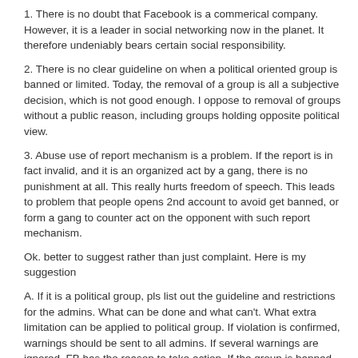1. There is no doubt that Facebook is a commerical company. However, it is a leader in social networking now in the planet. It therefore undeniably bears certain social responsibility.
2. There is no clear guideline on when a political oriented group is banned or limited. Today, the removal of a group is all a subjective decision, which is not good enough. I oppose to removal of groups without a public reason, including groups holding opposite political view.
3. Abuse use of report mechanism is a problem. If the report is in fact invalid, and it is an organized act by a gang, there is no punishment at all. This really hurts freedom of speech. This leads to problem that people opens 2nd account to avoid get banned, or form a gang to counter act on the opponent with such report mechanism.
Ok. better to suggest rather than just complaint. Here is my suggestion
A. If it is a political group, pls list out the guideline and restrictions for the admins. What can be done and what can't. What extra limitation can be applied to political group. If violation is confirmed, warnings should be sent to all admins. If several warnings are ignored, FB has the reason to take action. If the group is banned, pls leave a page explaining why.
B. If confirmed case of abuse use of report mechanism, there should be "bad marks" accumulated for that user. Up to certain point, warning is given, and onwards, liable to be